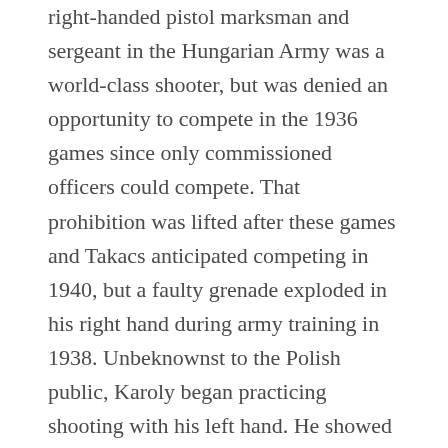right-handed pistol marksman and sergeant in the Hungarian Army was a world-class shooter, but was denied an opportunity to compete in the 1936 games since only commissioned officers could compete. That prohibition was lifted after these games and Takacs anticipated competing in 1940, but a faulty grenade exploded in his right hand during army training in 1938. Unbeknownst to the Polish public, Karoly began practicing shooting with his left hand. He showed up at the 1939 Hungarian National Pistol Shooting Championship, and when other